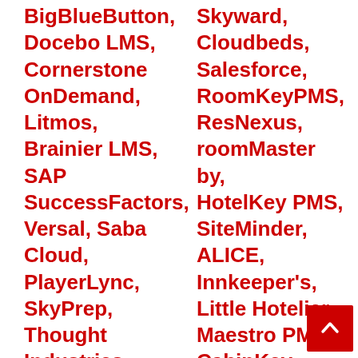BigBlueButton, Docebo LMS, Cornerstone OnDemand, Litmos, Brainier LMS, SAP SuccessFactors, Versal, Saba Cloud, PlayerLync, SkyPrep, Thought Industries, SyberWorks Training Center, LatitudeLearning, PeopleFluent LMS, BlueVolt
Skyward, Cloudbeds, Salesforce, RoomKeyPMS, ResNexus, roomMaster by, HotelKey PMS, SiteMinder, ALICE, Innkeeper's, Little Hotelier, Maestro PMS, CabinKey, RMS, Hotello, Sirvoy, Lodify, eZee Absolute »